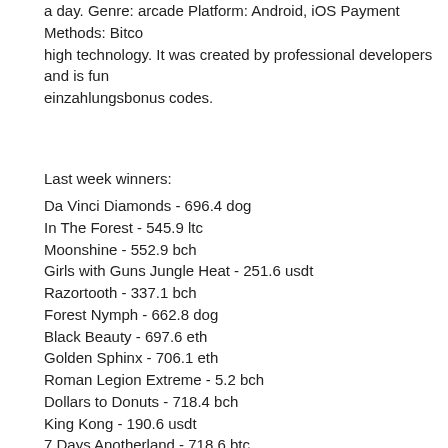a day. Genre: arcade Platform: Android, iOS Payment Methods: Bitco... high technology. It was created by professional developers and is fun... einzahlungsbonus codes.
Last week winners:
Da Vinci Diamonds - 696.4 dog
In The Forest - 545.9 ltc
Moonshine - 552.9 bch
Girls with Guns Jungle Heat - 251.6 usdt
Razortooth - 337.1 bch
Forest Nymph - 662.8 dog
Black Beauty - 697.6 eth
Golden Sphinx - 706.1 eth
Roman Legion Extreme - 5.2 bch
Dollars to Donuts - 718.4 bch
King Kong - 190.6 usdt
7 Days Anotherland - 718.6 btc
Book of Crazy Chicken - 40.8 bch
Beetle Jewels - 134.4 usdt
King Chameleon - 583.8 ltc